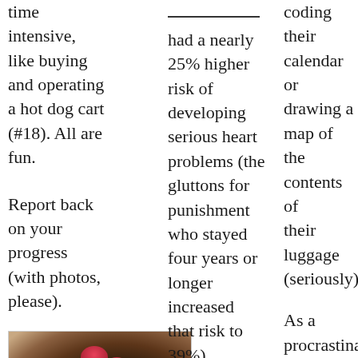time intensive, like buying and operating a hot dog cart (#18). All are fun.
Report back on your progress (with photos, please).
[Figure (photo): A chocolate lava cake or molten chocolate dessert topped with raspberries, a mint leaf, and a scoop of cream/ice cream.]
#22 – make molten lav…
had a nearly 25% higher risk of developing serious heart problems (the gluttons for punishment who stayed four years or longer increased that risk to 39%).
I personally believe that bosses should be subject to
coding their calendar or drawing a map of the contents of their luggage (seriously).
As a procrastinator, the likelihood that you will follow a system is inversely proportional to the system's complexity. In